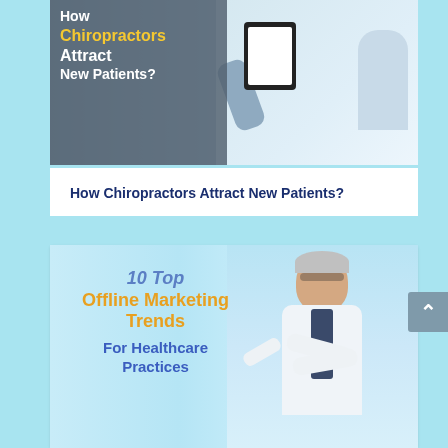[Figure (photo): Photo of a doctor showing a tablet to a patient, with overlaid text: 'How Chiropractors Attract New Patients?' on a dark overlay on the left side. Right side shows chiropractor/patient scene.]
How Chiropractors Attract New Patients?
[Figure (photo): Photo of a smiling male doctor in a white coat with crossed arms pointing, with overlaid text: '10 Top Offline Marketing Trends For Healthcare Practices' on a light blue background.]